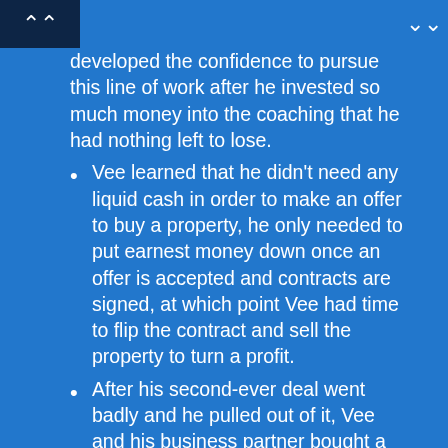developed the confidence to pursue this line of work after he invested so much money into the coaching that he had nothing left to lose.
Vee learned that he didn't need any liquid cash in order to make an offer to buy a property, he only needed to put earnest money down once an offer is accepted and contracts are signed, at which point Vee had time to flip the contract and sell the property to turn a profit.
After his second-ever deal went badly and he pulled out of it, Vee and his business partner bought a house to flip themselves.
Ten years later, Vee is interested in out-of-state investing.
Looking ahead, Vee wants to get into commercial investing, maybe with an apartment complex.
To build a team in a new market, Vee suggests doing a lot of research about job